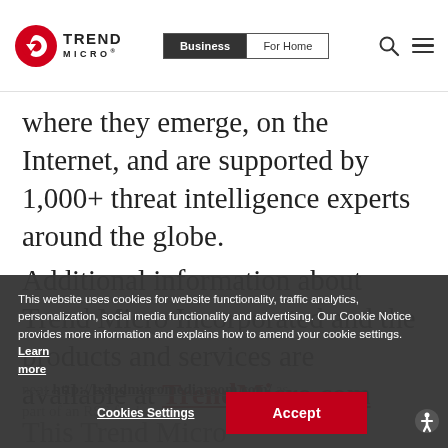[Figure (logo): Trend Micro logo with red circular icon and TREND MICRO text]
[Figure (screenshot): Navigation bar with Business and For Home tabs, search and menu icons]
where they emerge, on the Internet, and are supported by 1,000+ threat intelligence experts around the globe.
Additional information about Trend Micro Incorporated and the products and services are available at TrendMicro.com This Trend Micro news... available at http://trendmicromediaroom.com/... as part of an RSS feed at www.trendmicro.com/... for news on Twitter at @TrendMicro
This website uses cookies for website functionality, traffic analytics, personalization, social media functionality and advertising. Our Cookie Notice provides more information and explains how to amend your cookie settings. Learn more
[Figure (screenshot): Cookie consent banner with Cookies Settings and Accept buttons]